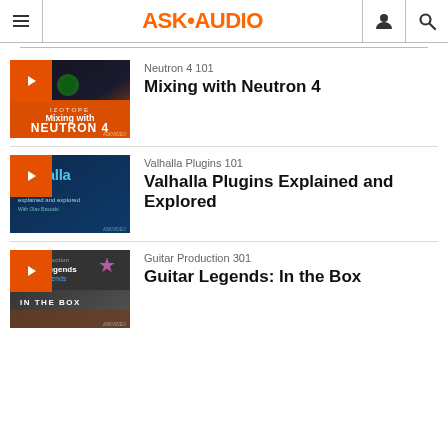ASK·AUDIO
[Figure (screenshot): Course thumbnail for Mixing with Neutron 4 — iZotope course artwork with orange/dark background]
Neutron 4 101
Mixing with Neutron 4
[Figure (screenshot): Course thumbnail for Valhalla Plugins Explained and Explored — blue background with Valhalla branding]
Valhalla Plugins 101
Valhalla Plugins Explained and Explored
[Figure (screenshot): Course thumbnail for Guitar Legends: In the Box — Guitar Production course artwork with dark background and blue text]
Guitar Production 301
Guitar Legends: In the Box